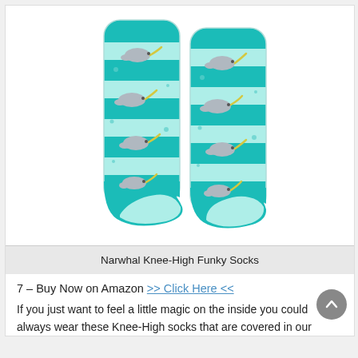[Figure (photo): Two knee-high socks with narwhal pattern on turquoise and light mint horizontal stripes, shown standing upright against a white background.]
Narwhal Knee-High Funky Socks
7 – Buy Now on Amazon >> Click Here <<
If you just want to feel a little magic on the inside you could always wear these Knee-High socks that are covered in our